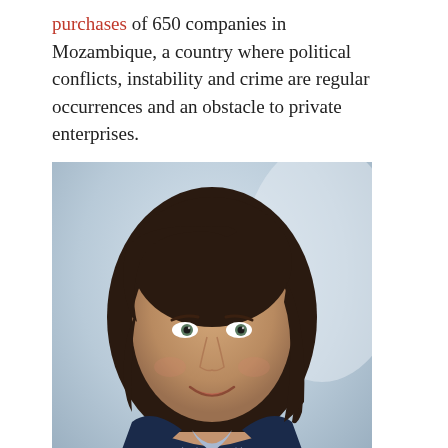purchases of 650 companies in Mozambique, a country where political conflicts, instability and crime are regular occurrences and an obstacle to private enterprises.
[Figure (photo): Professional headshot of Cláudia Custódio, a woman with dark shoulder-length hair, smiling, wearing a dark navy blazer over a light blue striped shirt, against a blurred light background.]
Cláudia Custódio
We examined each company's purchases of items for resale to